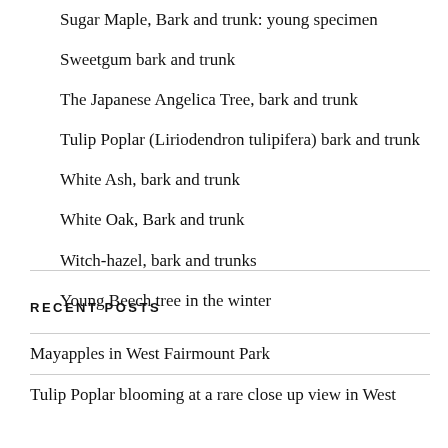Sugar Maple, Bark and trunk: young specimen
Sweetgum bark and trunk
The Japanese Angelica Tree, bark and trunk
Tulip Poplar (Liriodendron tulipifera) bark and trunk
White Ash, bark and trunk
White Oak, Bark and trunk
Witch-hazel, bark and trunks
Young Beech tree in the winter
RECENT POSTS
Mayapples in West Fairmount Park
Tulip Poplar blooming at a rare close up view in West